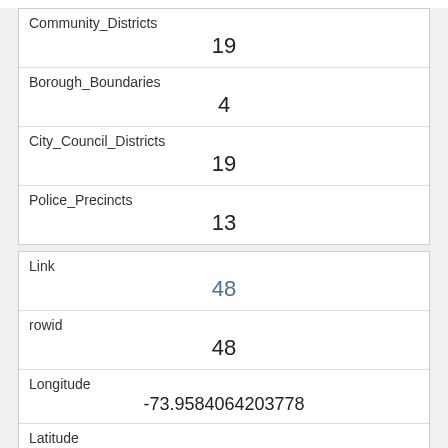| Field | Value |
| --- | --- |
| Community_Districts | 19 |
| Borough_Boundaries | 4 |
| City_Council_Districts | 19 |
| Police_Precincts | 13 |
| Field | Value |
| --- | --- |
| Link | 48 |
| rowid | 48 |
| Longitude | -73.9584064203778 |
| Latitude | 40.7912272455454 |
| Unique_Squirrel_ID | 33F-PM-1012-04 |
| Hectare |  |